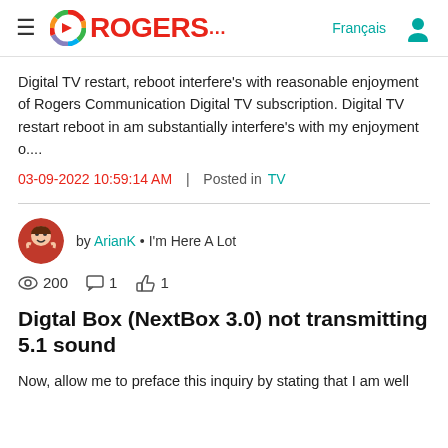ROGERS | Français
Digital TV restart, reboot interfere's with reasonable enjoyment of Rogers Communication Digital TV subscription. Digital TV restart reboot in am substantially interfere's with my enjoyment o....
03-09-2022 10:59:14 AM | Posted in TV
by ArianK • I'm Here A Lot
200 views  1 comment  1 like
Digtal Box (NextBox 3.0) not transmitting 5.1 sound
Now, allow me to preface this inquiry by stating that I am well